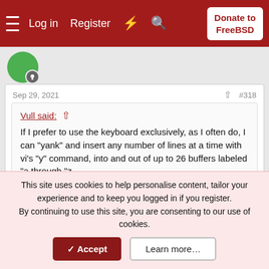Log in  Register  Donate to FreeBSD
[Figure (illustration): User avatar: green circle with grey person badge]
Sep 29, 2021   #318
Vull said:
If I prefer to use the keyboard exclusively, as I often do, I can "yank" and insert any number of lines at a time with vi's "y" command, into and out of up to 26 buffers labeled "a through "z.
vi is an editor for a terminal, but still line oriented as one for a teletype.
The apparently more primitive sam is superior.
This site uses cookies to help personalise content, tailor your experience and to keep you logged in if you register.
By continuing to use this site, you are consenting to our use of cookies.